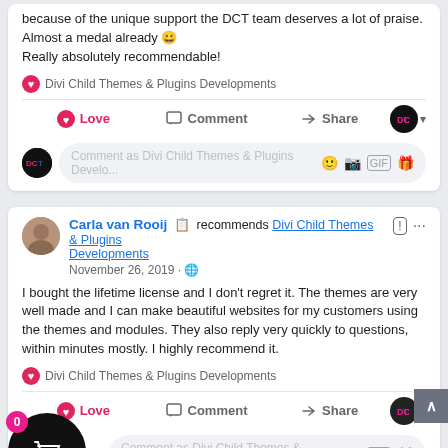because of the unique support the DCT team deserves a lot of praise. Almost a medal already 😀
Really absolutely recommendable!
Divi Child Themes & Plugins Developments
Love  Comment  Share
Comment as Divi Child Themes & Plugins Develo...
Carla van Rooij recommends Divi Child Themes & Plugins Developments
November 26, 2019
I bought the lifetime license and I don't regret it. The themes are very well made and I can make beautiful websites for my customers using the themes and modules. They also reply very quickly to questions, within minutes mostly. I highly recommend it.
Divi Child Themes & Plugins Developments
Love  Comment  Share
Comment as Divi Child Themes & Plugins Developments